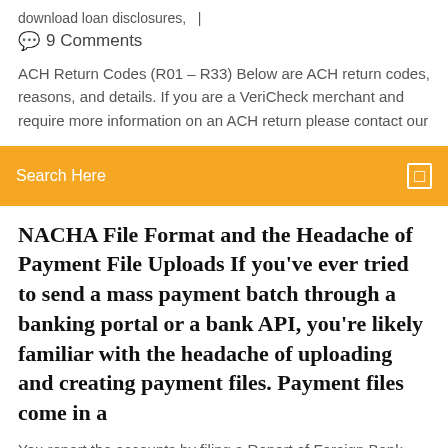download loan disclosures,   |
💬  9 Comments
ACH Return Codes (R01 – R33) Below are ACH return codes, reasons, and details. If you are a VeriCheck merchant and require more information on an ACH return please contact our
Search Here
NACHA File Format and the Headache of Payment File Uploads If you've ever tried to send a mass payment batch through a banking portal or a bank API, you're likely familiar with the headache of uploading and creating payment files. Payment files come in a
You report the accounts by filing a Report of Foreign Bank and Financial Accounts if a U.S. person (trust, trustee of the trust or agent of the trust) files an FBAR reporting these accounts. You don't file the FBAR with your federal tax return. Please contact us if you have any questions. How do I transfer money from